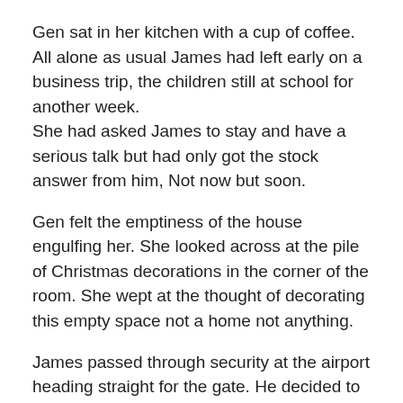Gen sat in her kitchen with a cup of coffee. All alone as usual James had left early on a business trip, the children still at school for another week. She had asked James to stay and have a serious talk but had only got the stock answer from him, Not now but soon.
Gen felt the emptiness of the house engulfing her. She looked across at the pile of Christmas decorations in the corner of the room. She wept at the thought of decorating this empty space not a home not anything.
James passed through security at the airport heading straight for the gate. He decided to ring home to say bye to Gen and remind her to collet his suit for Thursday.
Gen was heading up the stairs when the phone in her pocket...